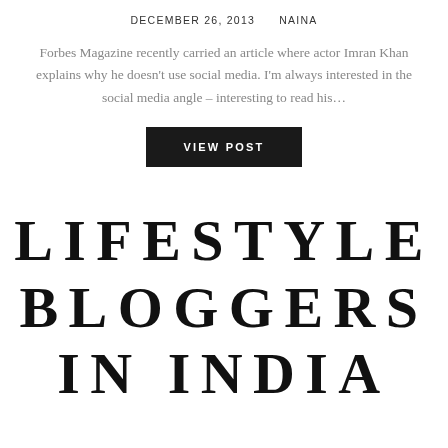DECEMBER 26, 2013    NAINA
Forbes Magazine recently carried an article where actor Imran Khan explains why he doesn't use social media. I'm always interested in the social media angle – interesting to read his…
VIEW POST
LIFESTYLE BLOGGERS IN INDIA